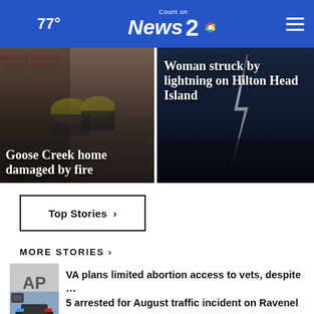77° Count on News 2 NBC
[Figure (photo): Firefighters at scene of house fire — headline: Goose Creek home damaged by fire]
[Figure (photo): Lightning strike scene — headline: Woman struck by lightning on Hilton Head Island]
Top Stories ›
MORE STORIES ›
VA plans limited abortion access to vets, despite …
5 arrested for August traffic incident on Ravenel …